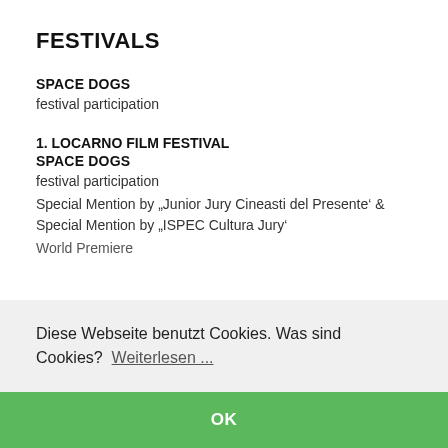FESTIVALS
SPACE DOGS
festival participation
1. LOCARNO FILM FESTIVAL
SPACE DOGS
festival participation
Special Mention by „Junior Jury Cineasti del Presente‘ & Special Mention by „ISPEC Cultura Jury‘
World Premiere
Diese Webseite benutzt Cookies. Was sind Cookies?  Weiterlesen ...
OK
13.-21. September 2019 Miskolc / HUNGARY